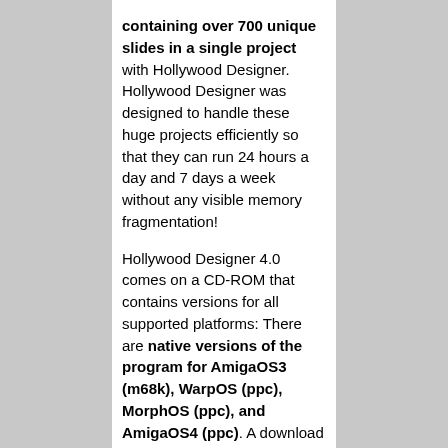containing over 700 unique slides in a single project with Hollywood Designer. Hollywood Designer was designed to handle these huge projects efficiently so that they can run 24 hours a day and 7 days a week without any visible memory fragmentation!
Hollywood Designer 4.0 comes on a CD-ROM that contains versions for all supported platforms: There are native versions of the program for AmigaOS3 (m68k), WarpOS (ppc), MorphOS (ppc), and AmigaOS4 (ppc). A download version is also offered. If you order the download version, you will have to download an ISO image which you need to burn on CD-R then. If you order the CD-ROM version, you will get a nice digipak. If you already own a previous version of Hollywood Designer, you can buy a discounted upgrade version.
Please note that Hollywood Designer 4.0 runs on top of the Multimedia Application Layer